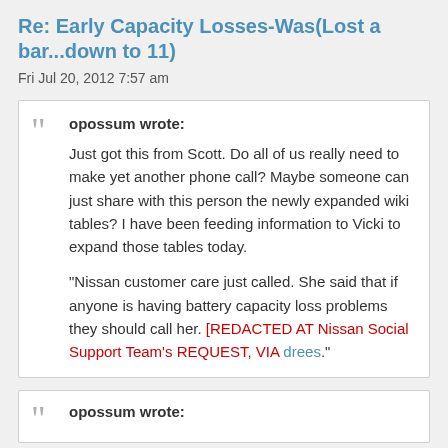Re: Early Capacity Losses-Was(Lost a bar…down to 11)
Fri Jul 20, 2012 7:57 am
opossum wrote:
Just got this from Scott. Do all of us really need to make yet another phone call? Maybe someone can just share with this person the newly expanded wiki tables? I have been feeding information to Vicki to expand those tables today.

"Nissan customer care just called. She said that if anyone is having battery capacity loss problems they should call her. [REDACTED AT Nissan Social Support Team's REQUEST, VIA drees."
opossum wrote: